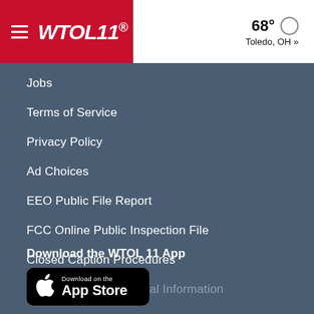WTOL11® — 68° Toledo, OH »
Jobs
Terms of Service
Privacy Policy
Ad Choices
EEO Public File Report
FCC Online Public Inspection File
Closed Caption Procedures
Do Not Sell My Personal Information
Download the WTOL 11 App
[Figure (logo): Download on the App Store button]